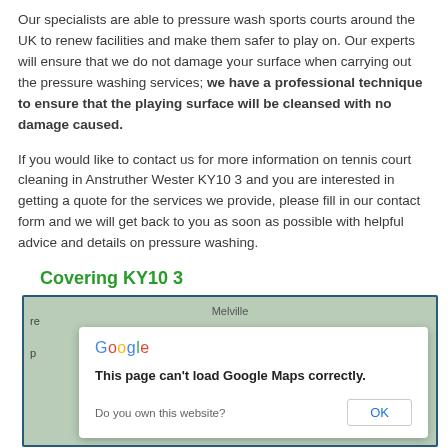Our specialists are able to pressure wash sports courts around the UK to renew facilities and make them safer to play on. Our experts will ensure that we do not damage your surface when carrying out the pressure washing services; we have a professional technique to ensure that the playing surface will be cleansed with no damage caused.
If you would like to contact us for more information on tennis court cleaning in Anstruther Wester KY10 3 and you are interested in getting a quote for the services we provide, please fill in our contact form and we will get back to you as soon as possible with helpful advice and details on pressure washing.
Covering KY10 3
[Figure (screenshot): A Google Maps embed dialog showing 'This page can't load Google Maps correctly.' with a Do you own this website? prompt and an OK button, overlaid on a green map background with 'Melville' text visible.]